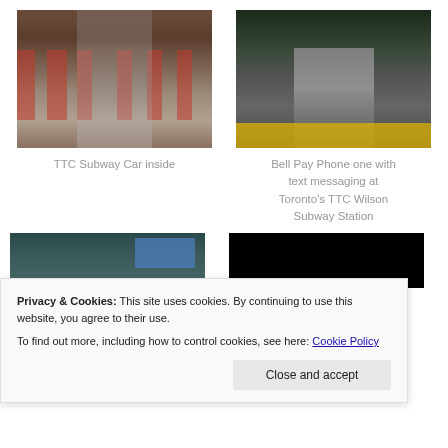[Figure (photo): Interior of a TTC subway car showing red seats, handrails, and a paper on the floor]
[Figure (photo): Bell pay phones at Toronto's TTC Wilson Subway Station, at night with yellow platform stripe visible]
TTC Subway Car inside
Bell Pay Phone one with text messaging at Toronto's TTC Wilson Subway Station
[Figure (photo): Partial photo of a subway station interior with blue sign]
[Figure (photo): Mostly black/dark photo]
Privacy & Cookies: This site uses cookies. By continuing to use this website, you agree to their use.
To find out more, including how to control cookies, see here: Cookie Policy
Close and accept